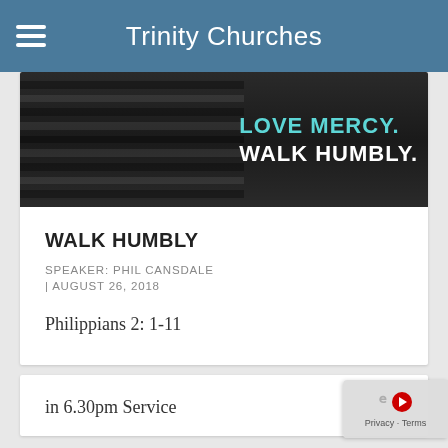Trinity Churches
[Figure (illustration): Banner image with dark horizontal stripes on left and bold text reading 'LOVE MERCY. WALK HUMBLY.' on right, with 'LOVE MERCY.' in teal/cyan and 'WALK HUMBLY.' in white]
WALK HUMBLY
SPEAKER: PHIL CANSDALE
| AUGUST 26, 2018
Philippians 2: 1-11
in 6.30pm Service